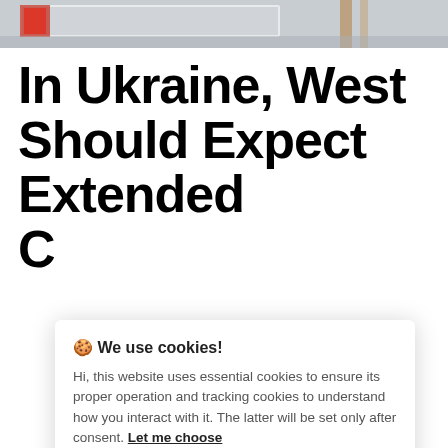[Figure (photo): Partial photo at top of page, appears to show a sign or banner outdoors]
In Ukraine, West Should Expect Extended C...
🍪 We use cookies!
Hi, this website uses essential cookies to ensure its proper operation and tracking cookies to understand how you interact with it. The latter will be set only after consent. Let me choose
Accept all
Reject all